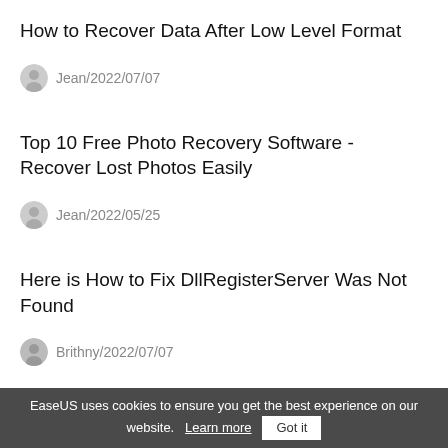How to Recover Data After Low Level Format
Jean/2022/07/07
Top 10 Free Photo Recovery Software - Recover Lost Photos Easily
Jean/2022/05/25
Here is How to Fix DllRegisterServer Was Not Found
Brithny/2022/07/07
Top 10 Best Free Data Recovery Software for
EaseUS uses cookies to ensure you get the best experience on our website.  Learn more  Got it